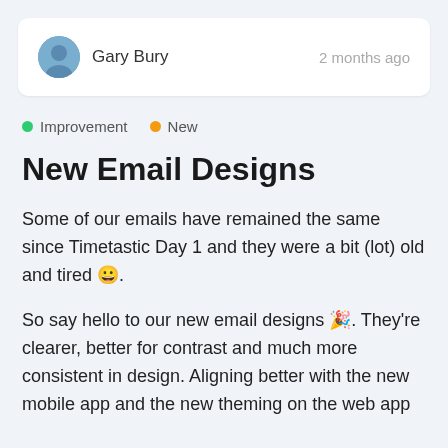Gary Bury    2 months ago
● Improvement   ● New
New Email Designs
Some of our emails have remained the same since Timetastic Day 1 and they were a bit (lot) old and tired 😀.
So say hello to our new email designs 🎉. They're clearer, better for contrast and much more consistent in design. Aligning better with the new mobile app and the new theming on the web app